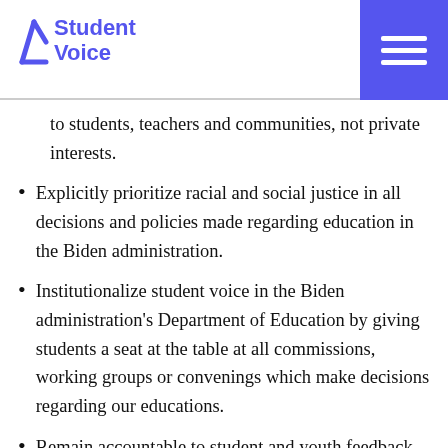Student Voice
to students, teachers and communities, not private interests.
Explicitly prioritize racial and social justice in all decisions and policies made regarding education in the Biden administration.
Institutionalize student voice in the Biden administration’s Department of Education by giving students a seat at the table at all commissions, working groups or convenings which make decisions regarding our educations.
Remain accountable to student and youth feedback on all issues that affect our